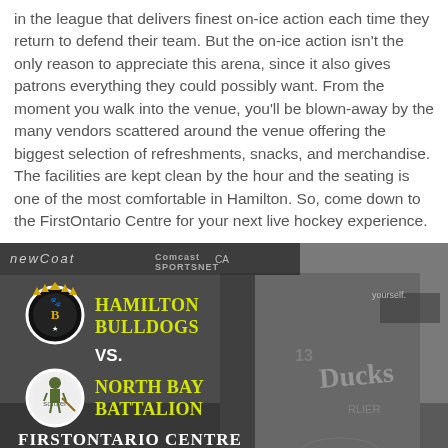in the league that delivers finest on-ice action each time they return to defend their team. But the on-ice action isn't the only reason to appreciate this arena, since it also gives patrons everything they could possibly want. From the moment you walk into the venue, you'll be blown-away by the many vendors scattered around the venue offering the biggest selection of refreshments, snacks, and merchandise. The facilities are kept clean by the hour and the seating is one of the most comfortable in Hamilton. So, come down to the FirstOntario Centre for your next live hockey experience.
[Figure (infographic): Hockey game promotional graphic showing Hamilton Bulldogs vs North Bay Battalion at FirstOntario Centre on 12/03/21, with team logos on white circles and a hockey player action shot in grayscale background.]